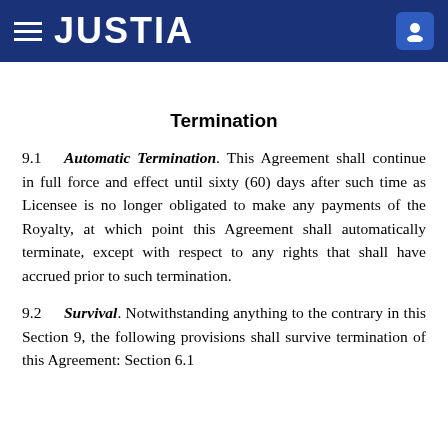JUSTIA
Termination
9.1 Automatic Termination. This Agreement shall continue in full force and effect until sixty (60) days after such time as Licensee is no longer obligated to make any payments of the Royalty, at which point this Agreement shall automatically terminate, except with respect to any rights that shall have accrued prior to such termination.
9.2 Survival. Notwithstanding anything to the contrary in this Section 9, the following provisions shall survive termination of this Agreement: Section 6.1